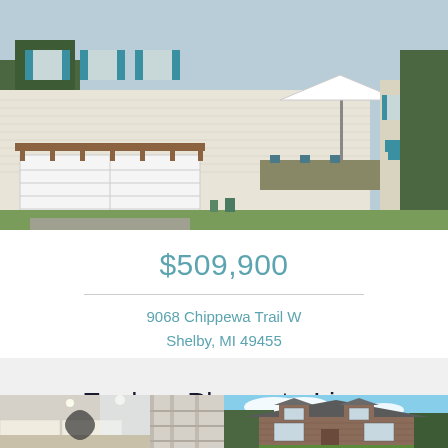[Figure (photo): Exterior photo of a white two-story home with teal/turquoise shutters, a white garage door with wooden pergola, and a deck with outdoor seating. Two views of the same or similar house side by side.]
$509,900
9068 Chippewa Trail W
Shelby, MI 49455
Explore Places to Live
[Figure (photo): Interior photo of a modern white kitchen with open shelving, recessed lighting, and large windows.]
[Figure (photo): Exterior photo of a brick house with dormers surrounded by green trees under a blue sky.]